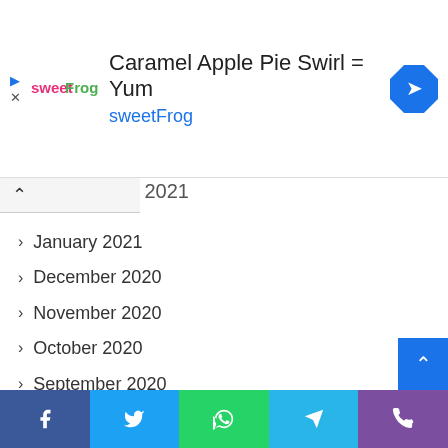[Figure (screenshot): SweetFrog advertisement banner with logo, title 'Caramel Apple Pie Swirl = Yum', brand name 'sweetFrog', and a blue turn/navigation icon]
January 2021
December 2020
November 2020
October 2020
September 2020
August 2020
July 2020
May 2020
April 2020
March 2020
[Figure (screenshot): Footer social share bar with Facebook, Twitter, WhatsApp, Telegram, and phone icons]